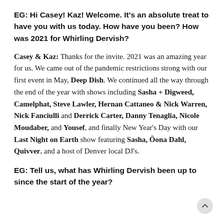EG: Hi Casey! Kaz! Welcome. It's an absolute treat to have you with us today. How have you been? How was 2021 for Whirling Dervish?
Casey & Kaz: Thanks for the invite. 2021 was an amazing year for us. We came out of the pandemic restrictions strong with our first event in May, Deep Dish. We continued all the way through the end of the year with shows including Sasha + Digweed, Camelphat, Steve Lawler, Hernan Cattaneo & Nick Warren, Nick Fanciulli and Derrick Carter, Danny Tenaglia, Nicole Moudaber, and Yousef, and finally New Year's Day with our Last Night on Earth show featuring Sasha, Öona Dahl, Quivver, and a host of Denver local DJ's.
EG: Tell us, what has Whirling Dervish been up to since the start of the year?